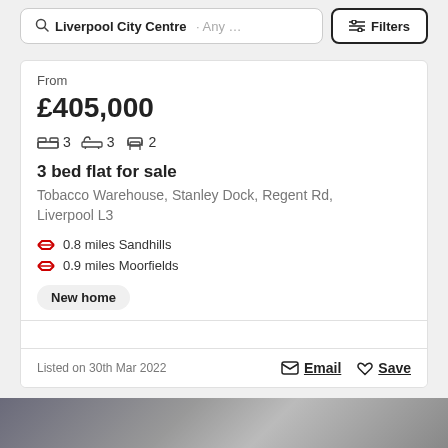Liverpool City Centre · Any … Filters
From
£405,000
3  3  2
3 bed flat for sale
Tobacco Warehouse, Stanley Dock, Regent Rd, Liverpool L3
0.8 miles Sandhills
0.9 miles Moorfields
New home
Listed on 30th Mar 2022  Email  Save